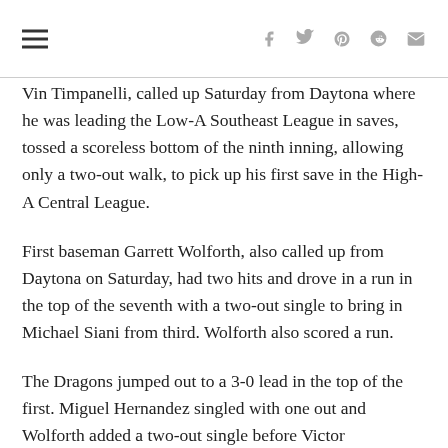navigation and social share icons
Vin Timpanelli, called up Saturday from Daytona where he was leading the Low-A Southeast League in saves, tossed a scoreless bottom of the ninth inning, allowing only a two-out walk, to pick up his first save in the High-A Central League.
First baseman Garrett Wolforth, also called up from Daytona on Saturday, had two hits and drove in a run in the top of the seventh with a two-out single to bring in Michael Siani from third. Wolforth also scored a run.
The Dragons jumped out to a 3-0 lead in the top of the first. Miguel Hernandez singled with one out and Wolforth added a two-out single before Victor